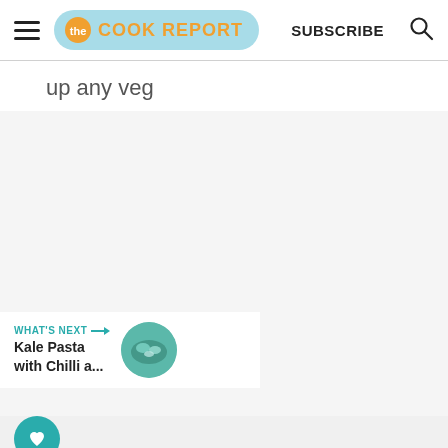THE COOK REPORT | SUBSCRIBE
up any veg
[Figure (screenshot): Gray content area placeholder for article image]
[Figure (illustration): Teal heart favorite button and white share button floating on left side]
WHAT'S NEXT → Kale Pasta with Chilli a...
[Figure (photo): Circular thumbnail of kale pasta dish]